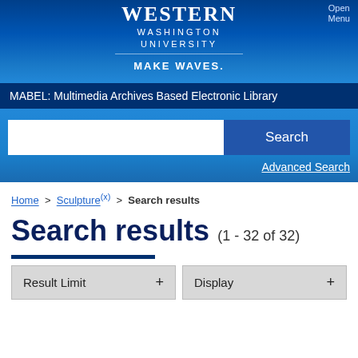[Figure (logo): Western Washington University logo with wave graphic, white text reading WESTERN WASHINGTON UNIVERSITY on dark blue background]
Open Menu
MAKE WAVES.
MABEL: Multimedia Archives Based Electronic Library
Search
Advanced Search
Home > Sculpture (x) > Search results
Search results (1 - 32 of 32)
Result Limit +
Display +